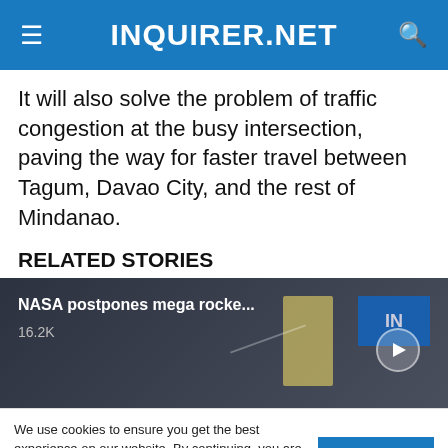INQUIRER.NET
It will also solve the problem of traffic congestion at the busy intersection, paving the way for faster travel between Tagum, Davao City, and the rest of Mindanao.
RELATED STORIES
[Figure (screenshot): Video thumbnail with text 'NASA postpones mega rocke...' and view count '16.2K', with INC logo and play button on dark background]
We use cookies to ensure you get the best experience on our website. By continuing, you are agreeing to our use of cookies. To find out more, please click this link.